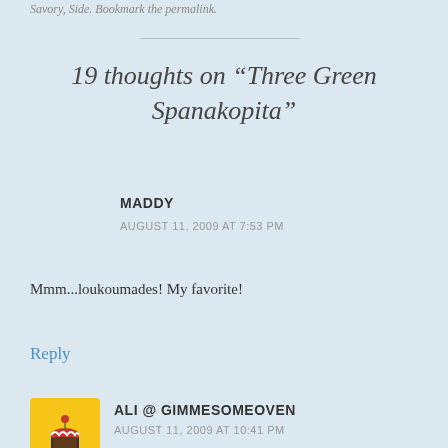Savory, Side. Bookmark the permalink.
19 thoughts on “Three Green Spanakopita”
MADDY
AUGUST 11, 2009 AT 7:53 PM
Mmm...loukoumades! My favorite!
Reply
ALI @ GIMMESOMEOVEN
AUGUST 11, 2009 AT 10:41 PM
Delightful!! Have been looking for a fun way to use up